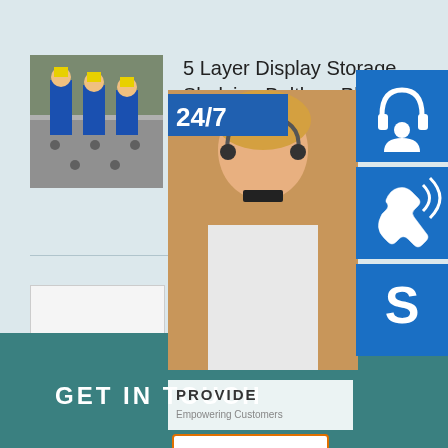[Figure (photo): Workers in blue protective gear working on a large metal surface, warehouse/industrial setting.]
5 Layer Display Storage Shelving Boltless Plastic Load Bearing Rack...
[Figure (photo): Placeholder/broken image thumbnail for refrigeration product.]
Refrigeration Copper Tube Aluminum Fin Condenser Evaporator Heat Exchanger Co...
[Figure (photo): Customer service widget overlay with 24/7 text, woman wearing headset, phone/Skype icons, PROVIDE Empowering Customers text, and online live button.]
GET IN TOUCH